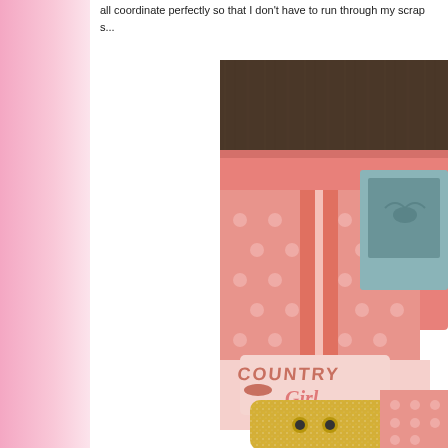all coordinate perfectly so that I don't have to run through my scrap s...
[Figure (photo): Craft/scrapbooking photo showing pink polka-dot patterned papers, a 'Country Girl' embellishment sticker, a teal photo card, pink folders, and a gold glitter phone case arranged on a dark wood surface]